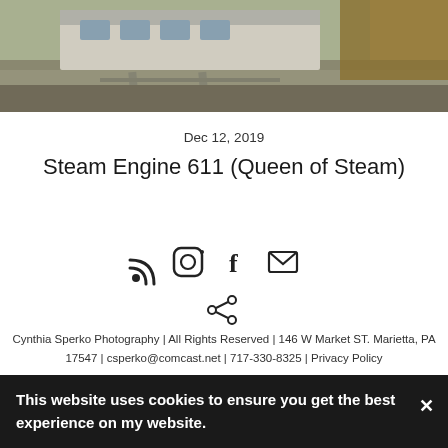[Figure (photo): Partial view of a steam train on tracks with gravel, vegetation, and structures in the background]
Dec 12, 2019
Steam Engine 611 (Queen of Steam)
[Figure (infographic): Social media icons: RSS, Instagram, Facebook, Email, Share]
Cynthia Sperko Photography | All Rights Reserved | 146 W Market ST. Marietta, PA 17547 | csperko@comcast.net | 717-330-8325 | Privacy Policy
Made with Pixpa
This website uses cookies to ensure you get the best experience on my website.